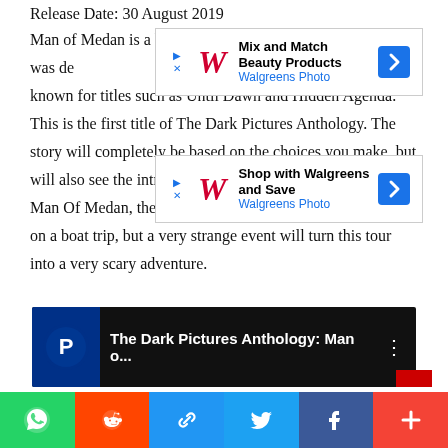Release Date: 30 August 2019
[Figure (screenshot): Walgreens Photo advertisement: Mix and Match Beauty Products]
[Figure (screenshot): Walgreens Photo advertisement: Shop with Walgreens and Save]
Man of Medan is a horror adventure game. The production was developed by Supermassive Games, a studio that is known for titles such as Until Dawn and Hidden Agenda. This is the first title of The Dark Pictures Anthology. The story will completely be based on the choices you make, but will also see the introduction of the multiplayer mode. In Man Of Medan, the story begins with 5 friends who venture on a boat trip, but a very strange event will turn this tour into a very scary adventure.
[Figure (screenshot): YouTube video thumbnail: The Dark Pictures Anthology: Man o... with PlayStation logo]
[Figure (infographic): Social share bar with WhatsApp, Reddit, Link, Twitter, Facebook, and More buttons]